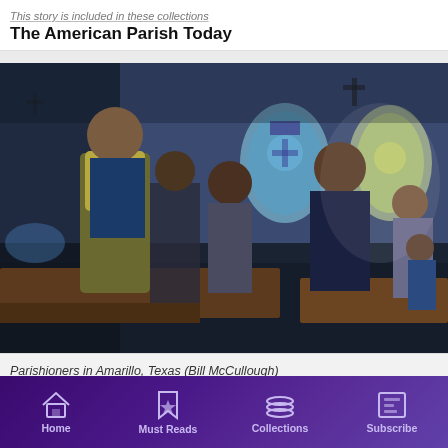This story is included in these collections
The American Parish Today
[Figure (photo): Parishioners standing in church pews in Amarillo, Texas, with stained glass windows visible in the background. Multiple people of various ages are visible, some singing or praying.]
Parishioners in Amarillo, Texas (Bill McCullough)
Home | Must Reads | Collections | Subscribe